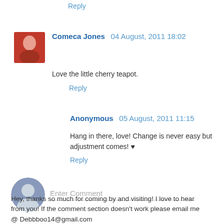Reply
Comeca Jones  04 August, 2011 18:02
Love the little cherry teapot.
Reply
Anonymous  05 August, 2011 11:15
Hang in there, love! Change is never easy but adjustment comes! ♥
Reply
Enter Comment
Hey, thanks so much for coming by and visiting! I love to hear from you! If the comment section doesn't work please email me @ Debbboo14@gmail.com